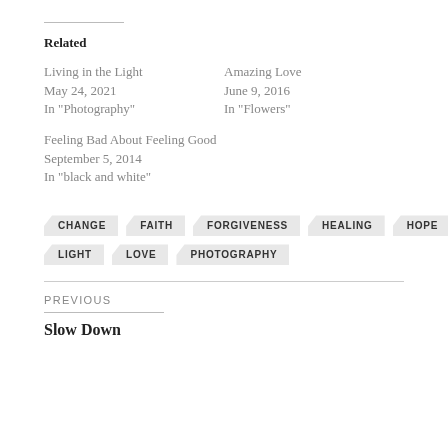Related
Living in the Light
May 24, 2021
In "Photography"
Amazing Love
June 9, 2016
In "Flowers"
Feeling Bad About Feeling Good
September 5, 2014
In "black and white"
CHANGE
FAITH
FORGIVENESS
HEALING
HOPE
LIGHT
LOVE
PHOTOGRAPHY
PREVIOUS
Slow Down